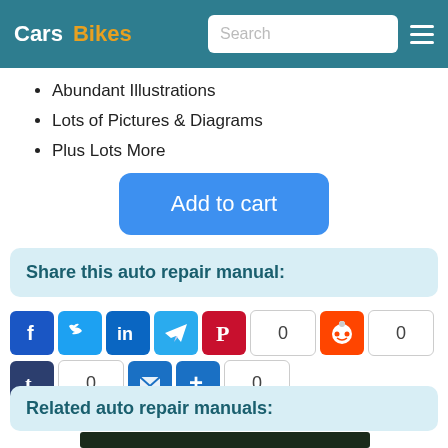Cars  Bikes  Search
Abundant Illustrations
Lots of Pictures & Diagrams
Plus Lots More
Add to cart
Share this auto repair manual:
[Figure (screenshot): Social sharing icons: Facebook, Twitter, LinkedIn, Telegram, Pinterest (count: 0), Reddit (count: 0), Tumblr (count: 0), Email, More (count: 0)]
Related auto repair manuals:
[Figure (photo): Partial view of a related auto repair manual thumbnail showing a dark outdoor scene.]